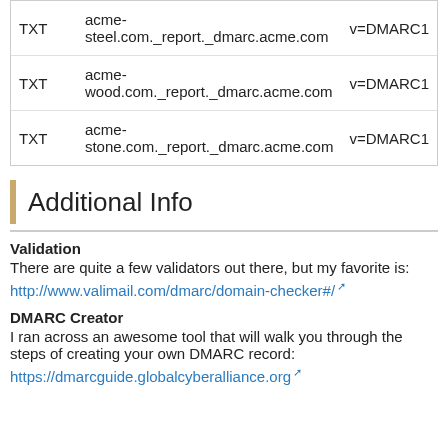| Type | Domain | Value |
| --- | --- | --- |
| TXT | acme-steel.com._report._dmarc.acme.com | v=DMARC1 |
| TXT | acme-wood.com._report._dmarc.acme.com | v=DMARC1 |
| TXT | acme-stone.com._report._dmarc.acme.com | v=DMARC1 |
Additional Info
Validation
There are quite a few validators out there, but my favorite is:
http://www.valimail.com/dmarc/domain-checker#/
DMARC Creator
I ran across an awesome tool that will walk you through the steps of creating your own DMARC record:
https://dmarcguide.globalcyberalliance.org